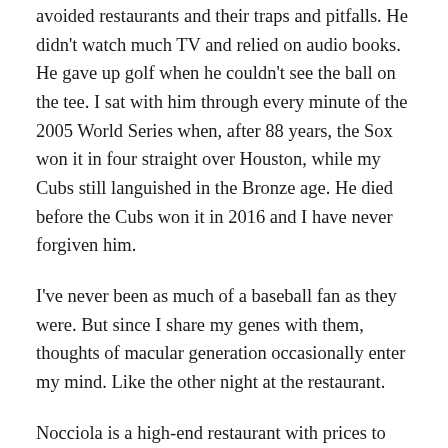avoided restaurants and their traps and pitfalls. He didn't watch much TV and relied on audio books. He gave up golf when he couldn't see the ball on the tee. I sat with him through every minute of the 2005 World Series when, after 88 years, the Sox won it in four straight over Houston, while my Cubs still languished in the Bronze age. He died before the Cubs won it in 2016 and I have never forgiven him.
I've never been as much of a baseball fan as they were. But since I share my genes with them, thoughts of macular generation occasionally enter my mind. Like the other night at the restaurant.
Nocciola is a high-end restaurant with prices to match. We hosted my daughter Nancy and my faux son-in-law, Kevin. A lovely setting, it was dimly lit. Menus of a weight befitting the restaurant's stature were passed. My initial exploration